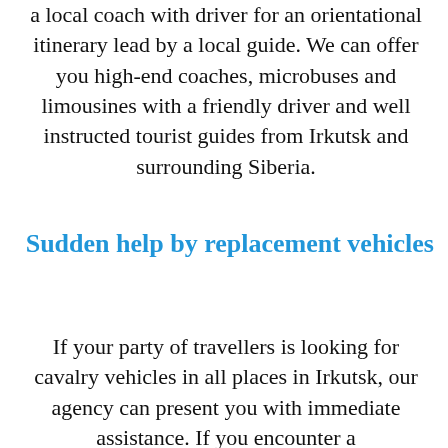a local coach with driver for an orientational itinerary lead by a local guide. We can offer you high-end coaches, microbuses and limousines with a friendly driver and well instructed tourist guides from Irkutsk and surrounding Siberia.
Sudden help by replacement vehicles
If your party of travellers is looking for cavalry vehicles in all places in Irkutsk, our agency can present you with immediate assistance. If you encounter a